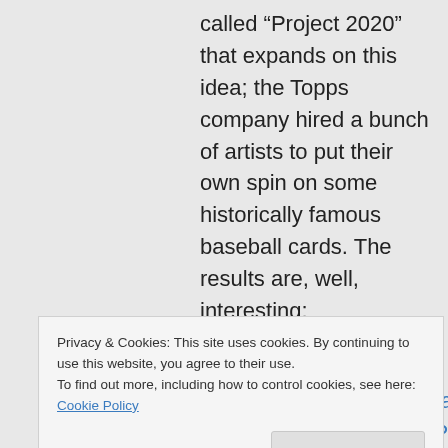called “Project 2020” that expands on this idea; the Topps company hired a bunch of artists to put their own spin on some historically famous baseball cards. The results are, well, interesting:
https://www.comc.com/Cards/Baseball/2020/Topps_Proj
Privacy & Cookies: This site uses cookies. By continuing to use this website, you agree to their use.
To find out more, including how to control cookies, see here: Cookie Policy
Close and accept
so little to say about the